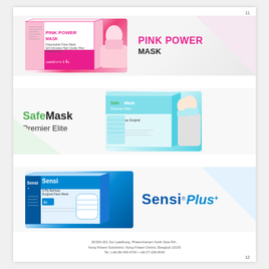11
[Figure (photo): Pink Power Mask product box with woman wearing a pink surgical mask, and Pink Power Mask brand name text to the right]
[Figure (photo): SafeMask Premier Elite product box showing 3-Ply Earloop Surgical Face Mask with doctor/medical staff, with SafeMask Premier Elite brand name text to the left]
[Figure (photo): Sensi Plus product box showing 3-Ply Earloop Surgical Face Mask with Sensi Plus brand logo to the right]
30/300-301 Soi Laaklhong, Phaencharoen North Side Rth, Nong Khaem Subdistrict, Nong Khaem District, Bangkok 10100
Tel. (+66 86-445-4704 / +66 07-158-4545
12